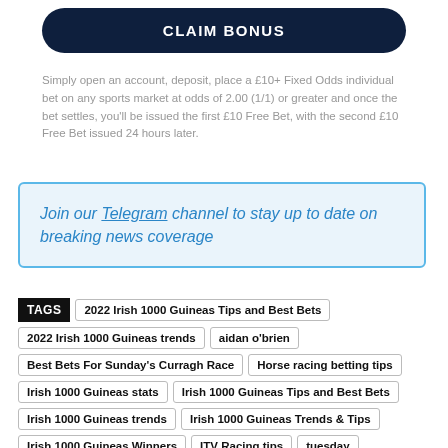CLAIM BONUS
Simply open an account, deposit, place a £10+ Fixed Odds individual bet on any sports market at odds of 2.00 (1/1) or greater and once the bet settles, you'll be issued the first £10 Free Bet, with the second £10 Free Bet issued 24 hours later.
Join our Telegram channel to stay up to date on breaking news coverage
TAGS  2022 Irish 1000 Guineas Tips and Best Bets  2022 Irish 1000 Guineas trends  aidan o'brien  Best Bets For Sunday's Curragh Race  Horse racing betting tips  Irish 1000 Guineas stats  Irish 1000 Guineas Tips and Best Bets  Irish 1000 Guineas trends  Irish 1000 Guineas Trends & Tips  Irish 1000 Guineas Winners  ITV Racing tips  tuesday